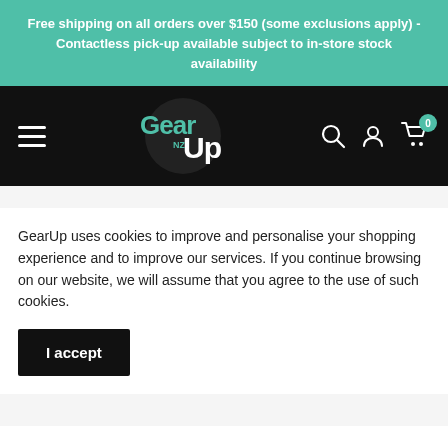Free shipping on all orders over $150 (some exclusions apply) - Contactless pick-up available subject to in-store stock availability
[Figure (logo): GearUp NZ logo on black navigation bar with hamburger menu, search icon, account icon, and shopping cart with badge showing 0]
[Figure (photo): Partial product image showing a dark storage card with red logo text and '100 MB/s' speed label on black background]
GearUp uses cookies to improve and personalise your shopping experience and to improve our services. If you continue browsing on our website, we will assume that you agree to the use of such cookies.